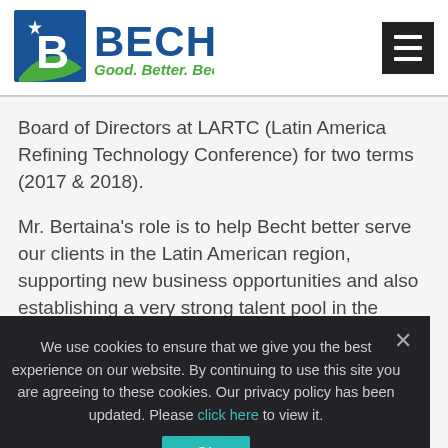Becht – Good. Better. Becht.
Board of Directors at LARTC (Latin America Refining Technology Conference) for two terms (2017 & 2018).
Mr. Bertaina's role is to help Becht better serve our clients in the Latin American region, supporting new business opportunities and also establishing a very strong talent pool in the
We use cookies to ensure that we give you the best experience on our website. By continuing to use this site you are agreeing to these cookies. Our privacy policy has been updated. Please click here to view it.